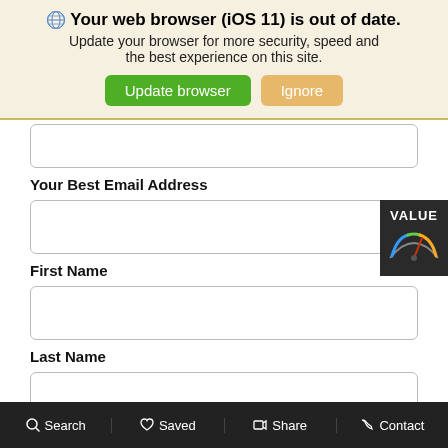[Figure (screenshot): Browser update notification banner with globe icon, bold title 'Your web browser (iOS 11) is out of date.', subtitle text, and two buttons: 'Update browser' (green) and 'Ignore' (tan/gold)]
Your Best Email Address
[Figure (screenshot): Empty text input field for email address]
First Name
[Figure (screenshot): Partial VALUE/gauge widget overlay in upper right corner]
[Figure (screenshot): Empty text input field for first name]
Last Name
[Figure (screenshot): Empty text input field for last name]
This site is protected by reCAPTCHA and the Google Privacy Policy and Terms of Service apply.
Search   Saved   Share   Contact